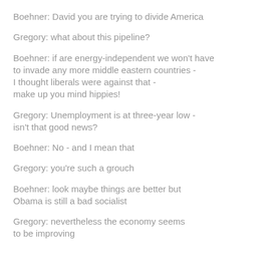Boehner: David you are trying to divide America
Gregory: what about this pipeline?
Boehner: if are energy-independent we won't have to invade any more middle eastern countries - I thought liberals were against that - make up you mind hippies!
Gregory: Unemployment is at three-year low - isn't that good news?
Boehner: No - and I mean that
Gregory: you're such a grouch
Boehner: look maybe things are better but Obama is still a bad socialist
Gregory: nevertheless the economy seems to be improving